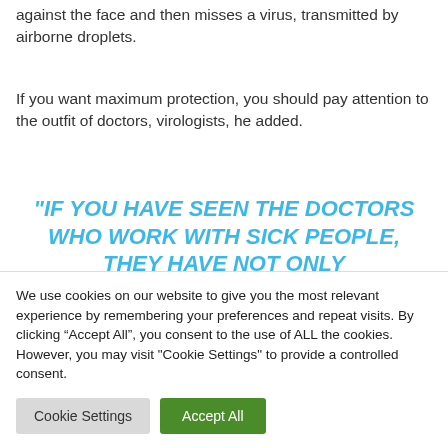against the face and then misses a virus, transmitted by airborne droplets.
If you want maximum protection, you should pay attention to the outfit of doctors, virologists, he added.
"IF YOU HAVE SEEN THE DOCTORS WHO WORK WITH SICK PEOPLE, THEY HAVE NOT ONLY RESPIRATORS, BUT ALSO SPECIAL
We use cookies on our website to give you the most relevant experience by remembering your preferences and repeat visits. By clicking “Accept All”, you consent to the use of ALL the cookies. However, you may visit "Cookie Settings" to provide a controlled consent.